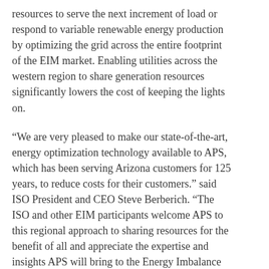resources to serve the next increment of load or respond to variable renewable energy production by optimizing the grid across the entire footprint of the EIM market. Enabling utilities across the western region to share generation resources significantly lowers the cost of keeping the lights on.
“We are very pleased to make our state-of-the-art, energy optimization technology available to APS, which has been serving Arizona customers for 125 years, to reduce costs for their customers.” said ISO President and CEO Steve Berberich. “The ISO and other EIM participants welcome APS to this regional approach to sharing resources for the benefit of all and appreciate the expertise and insights APS will bring to the Energy Imbalance Market.”
In conjunction with the Phoenix-based utility participating in the market, an APS representative will join the EIM Transitional Committee, a group responsible for proposing a long-term EIM governance structure. Additionally, APS will